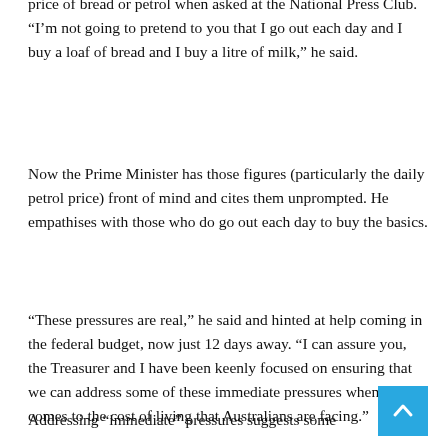price of bread or petrol when asked at the National Press Club. “I’m not going to pretend to you that I go out each day and I buy a loaf of bread and I buy a litre of milk,” he said.
Now the Prime Minister has those figures (particularly the daily petrol price) front of mind and cites them unprompted. He empathises with those who do go out each day to buy the basics.
“These pressures are real,” he said and hinted at help coming in the federal budget, now just 12 days away. “I can assure you, the Treasurer and I have been keenly focused on ensuring that we can address some of these immediate pressures when it comes to the cost of living that Australians are facing.”
Addressing “immediate” pressures suggests some